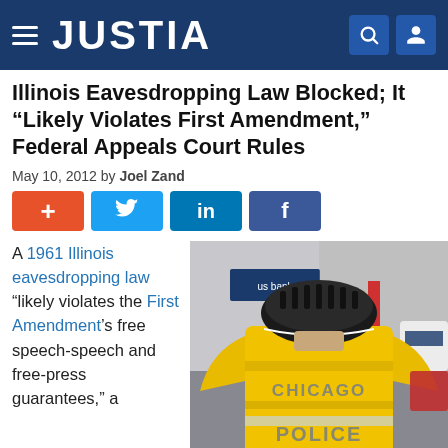JUSTIA
Illinois Eavesdropping Law Blocked; It “Likely Violates First Amendment,” Federal Appeals Court Rules
May 10, 2012 by Joel Zand
[Figure (infographic): Social sharing buttons: plus (orange), Twitter bird (blue), LinkedIn in (blue), Facebook f (dark blue)]
A 1961 Illinois eavesdropping law “likely violates the First Amendment’s free speech-speech and free-press guarantees,” a
[Figure (photo): A Chicago Police officer in a yellow jacket and bicycle helmet seen from behind, facing a crowd at a street protest with flags and signs.]